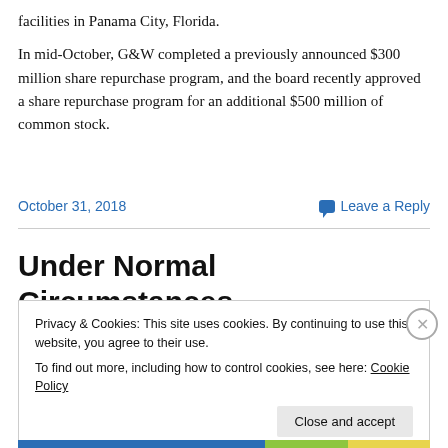facilities in Panama City, Florida.
In mid-October, G&W completed a previously announced $300 million share repurchase program, and the board recently approved a share repurchase program for an additional $500 million of common stock.
October 31, 2018
Leave a Reply
Under Normal Circumstances
Privacy & Cookies: This site uses cookies. By continuing to use this website, you agree to their use.
To find out more, including how to control cookies, see here: Cookie Policy
Close and accept